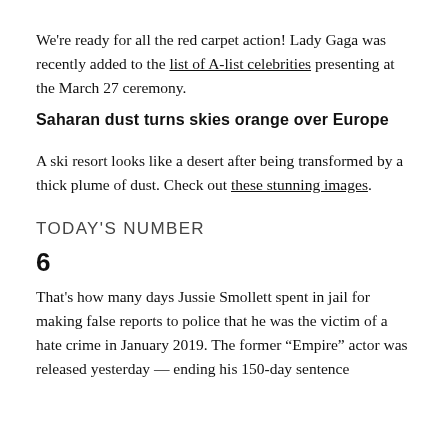We're ready for all the red carpet action! Lady Gaga was recently added to the list of A-list celebrities presenting at the March 27 ceremony.
Saharan dust turns skies orange over Europe
A ski resort looks like a desert after being transformed by a thick plume of dust. Check out these stunning images.
TODAY'S NUMBER
6
That's how many days Jussie Smollett spent in jail for making false reports to police that he was the victim of a hate crime in January 2019. The former "Empire" actor was released yesterday — ending his 150-day sentence